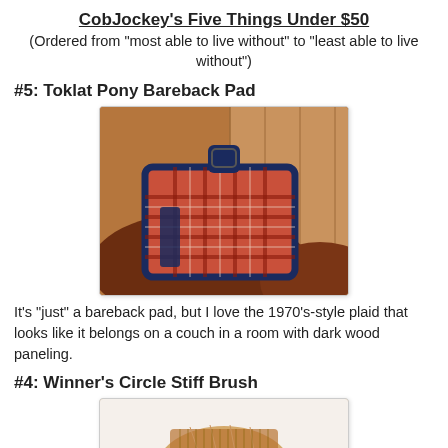CobJockey's Five Things Under $50
(Ordered from "most able to live without" to "least able to live without")
#5: Toklat Pony Bareback Pad
[Figure (photo): A plaid bareback pad on the back of a dark chestnut pony, with a navy border and carry handle, against a wooden background.]
It's "just" a bareback pad, but I love the 1970's-style plaid that looks like it belongs on a couch in a room with dark wood paneling.
#4: Winner's Circle Stiff Brush
[Figure (photo): A wooden-backed stiff brush, partially visible at the bottom of the page.]